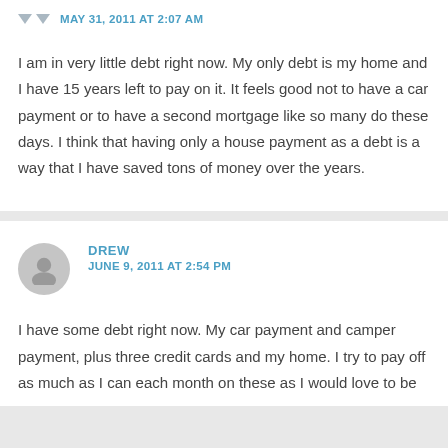MAY 31, 2011 AT 2:07 AM
I am in very little debt right now. My only debt is my home and I have 15 years left to pay on it. It feels good not to have a car payment or to have a second mortgage like so many do these days. I think that having only a house payment as a debt is a way that I have saved tons of money over the years.
DREW
JUNE 9, 2011 AT 2:54 PM
I have some debt right now. My car payment and camper payment, plus three credit cards and my home. I try to pay off as much as I can each month on these as I would love to be